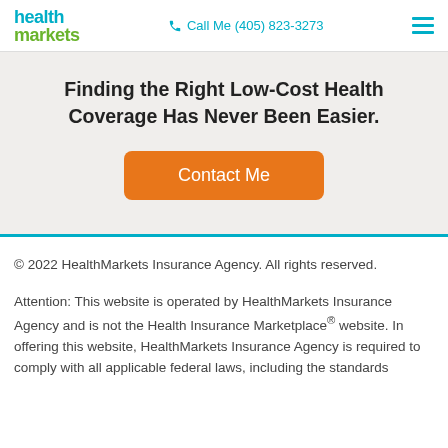health markets | Call Me (405) 823-3273
Finding the Right Low-Cost Health Coverage Has Never Been Easier.
Contact Me
© 2022 HealthMarkets Insurance Agency. All rights reserved.
Attention: This website is operated by HealthMarkets Insurance Agency and is not the Health Insurance Marketplace® website. In offering this website, HealthMarkets Insurance Agency is required to comply with all applicable federal laws, including the standards